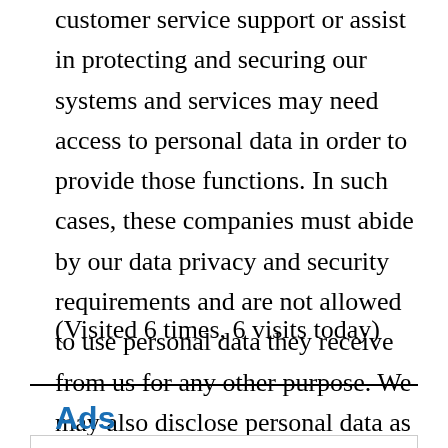For example, companies we've hired to provide customer service support or assist in protecting and securing our systems and services may need access to personal data in order to provide those functions. In such cases, these companies must abide by our data privacy and security requirements and are not allowed to use personal data they receive from us for any other purpose. We may also disclose personal data as part of a corporate transaction such as a merger or sale of assets.
(Visited 6 times, 6 visits today)
Ads